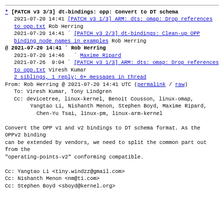* [PATCH v3 3/3] dt-bindings: opp: Convert to DT schema
  2021-07-20 14:41 [PATCH v3 1/3] ARM: dts: omap: Drop references to opp.txt Rob Herring
  2021-07-20 14:41 ` [PATCH v3 2/3] dt-bindings: Clean-up OPP binding node names in examples Rob Herring
@ 2021-07-20 14:41 ` Rob Herring
  2021-07-20 14:46   ` Maxime Ripard
  2021-07-26  9:04 ` [PATCH v3 1/3] ARM: dts: omap: Drop references to opp.txt Viresh Kumar
  2 siblings, 1 reply; 6+ messages in thread
From: Rob Herring @ 2021-07-20 14:41 UTC (permalink / raw)
To: Viresh Kumar, Tony Lindgren
Cc: devicetree, linux-kernel, Benoit Cousson, linux-omap,
        Yangtao Li, Nishanth Menon, Stephen Boyd, Maxime Ripard,
          Chen-Yu Tsai, linux-pm, linux-arm-kernel

Convert the OPP v1 and v2 bindings to DT schema format. As the OPPv2 binding
can be extended by vendors, we need to split the common part out from the
"operating-points-v2" conforming compatible.

Cc: Yangtao Li <tiny.windzz@gmail.com>
Cc: Nishanth Menon <nm@ti.com>
Cc: Stephen Boyd <sboyd@kernel.org>